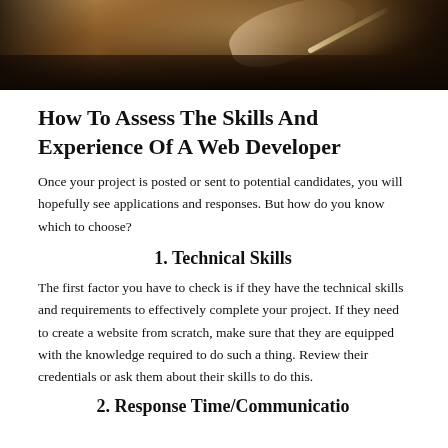[Figure (photo): Close-up photo of hands writing on paper at a dark wooden desk, viewed from above.]
How To Assess The Skills And Experience Of A Web Developer
Once your project is posted or sent to potential candidates, you will hopefully see applications and responses. But how do you know which to choose?
1. Technical Skills
The first factor you have to check is if they have the technical skills and requirements to effectively complete your project. If they need to create a website from scratch, make sure that they are equipped with the knowledge required to do such a thing. Review their credentials or ask them about their skills to do this.
2. Response Time/Communicatio...